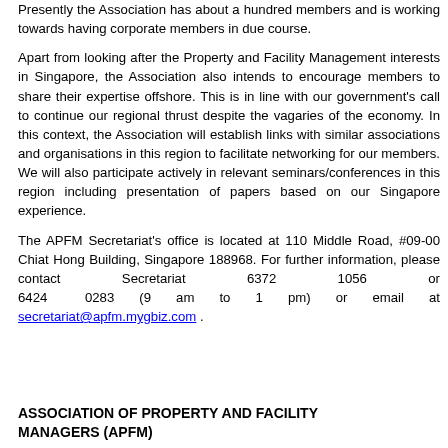Presently the Association has about a hundred members and is working towards having corporate members in due course.
Apart from looking after the Property and Facility Management interests in Singapore, the Association also intends to encourage members to share their expertise offshore. This is in line with our government's call to continue our regional thrust despite the vagaries of the economy. In this context, the Association will establish links with similar associations and organisations in this region to facilitate networking for our members. We will also participate actively in relevant seminars/conferences in this region including presentation of papers based on our Singapore experience.
The APFM Secretariat's office is located at 110 Middle Road, #09-00 Chiat Hong Building, Singapore 188968. For further information, please contact Secretariat 6372 1056 or 6424 0283 (9 am to 1 pm) or email at secretariat@apfm.mygbiz.com .
ASSOCIATION OF PROPERTY AND FACILITY MANAGERS (APFM)